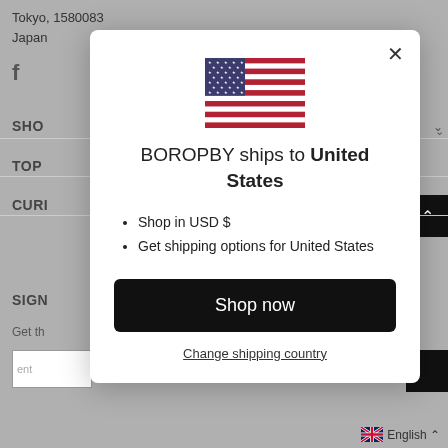Tokyo, 1580083
Japan
f
SHOP
TOP
CURR
SIGN
Get th
[Figure (screenshot): Modal dialog showing BOROPBY ships to United States with US flag, bullet points 'Shop in USD $' and 'Get shipping options for United States', a Shop now button, and a Change shipping country link]
English